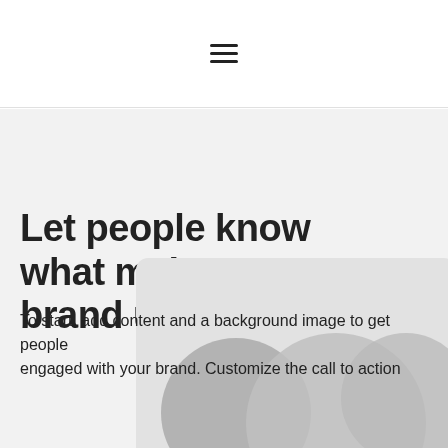☰
Let people know what makes your brand unique
To start, add content and a background image to get people engaged with your brand. Customize the call to action
[Figure (illustration): Placeholder image area with overlapping grey circles on a light grey rounded rectangle background]